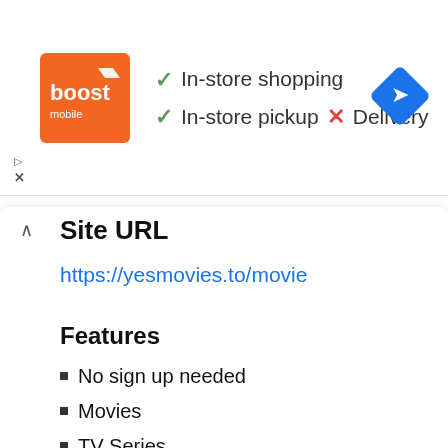[Figure (screenshot): Ad banner showing Boost Mobile logo with orange background, text 'In-store shopping', 'In-store pickup', 'X Delivery' with check/cross icons, and a blue navigation diamond icon on the right]
Site URL
https://yesmovies.to/movie
Features
No sign up needed
Movies
TV Series
Full screen viewing
Schedule you movies so you can watch them one after the other